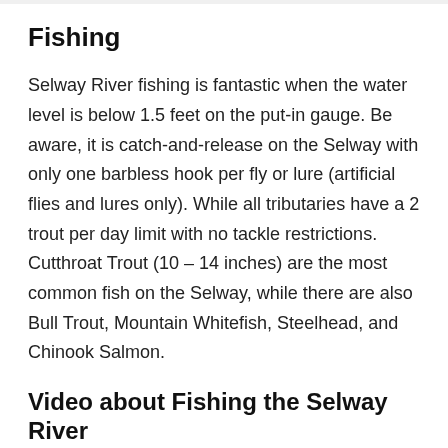Fishing
Selway River fishing is fantastic when the water level is below 1.5 feet on the put-in gauge. Be aware, it is catch-and-release on the Selway with only one barbless hook per fly or lure (artificial flies and lures only). While all tributaries have a 2 trout per day limit with no tackle restrictions. Cutthroat Trout (10 – 14 inches) are the most common fish on the Selway, while there are also Bull Trout, Mountain Whitefish, Steelhead, and Chinook Salmon.
Video about Fishing the Selway River